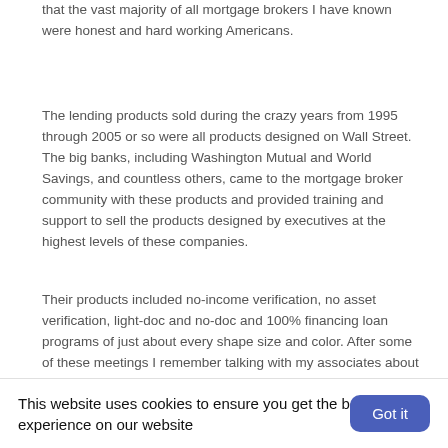that the vast majority of all mortgage brokers I have known were honest and hard working Americans.
The lending products sold during the crazy years from 1995 through 2005 or so were all products designed on Wall Street. The big banks, including Washington Mutual and World Savings, and countless others, came to the mortgage broker community with these products and provided training and support to sell the products designed by executives at the highest levels of these companies.
Their products included no-income verification, no asset verification, light-doc and no-doc and 100% financing loan programs of just about every shape size and color. After some of these meetings I remember talking with my associates about how crazy it seemed to be offering loan products to individuals who could not really demonstrate reasonable credit or income, or source their assets and down payments. But most of the lenders were offering these products, and who [faded text continues]
This website uses cookies to ensure you get the best experience on our website
Got it